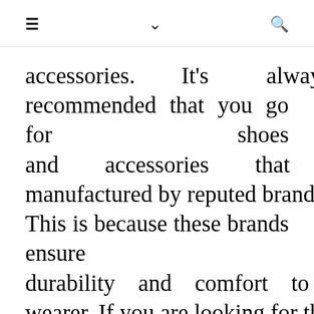≡  ∨  🔍
accessories. It's always recommended that you go for shoes and accessories that are manufactured by reputed brands. This is because these brands ensure durability and comfort to the wearer. If you are looking for the right sports accessories, you should check the following brands that provide cutting-edge products: